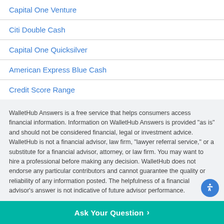Capital One Venture
Citi Double Cash
Capital One Quicksilver
American Express Blue Cash
Credit Score Range
WalletHub Answers is a free service that helps consumers access financial information. Information on WalletHub Answers is provided “as is” and should not be considered financial, legal or investment advice. WalletHub is not a financial advisor, law firm, “lawyer referral service,” or a substitute for a financial advisor, attorney, or law firm. You may want to hire a professional before making any decision. WalletHub does not endorse any particular contributors and cannot guarantee the quality or reliability of any information posted. The helpfulness of a financial advisor's answer is not indicative of future advisor performance.
Ask Your Question